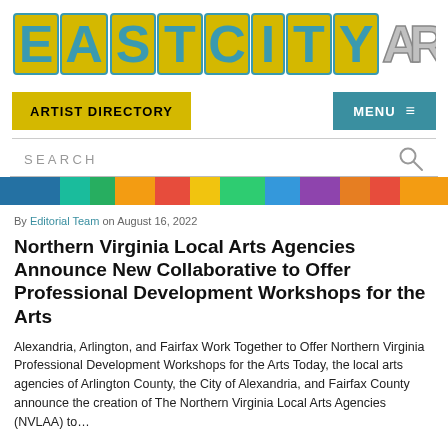[Figure (logo): EastCityArt logo in large stylized block letters with yellow and teal 3D effect. 'EASTCITY' in yellow/teal, 'ART' in gray/white.]
[Figure (screenshot): Navigation bar with yellow 'ARTIST DIRECTORY' button on left and teal 'MENU ≡' button on right.]
SEARCH
[Figure (photo): Colorful image strip showing partial view of artwork with rainbow colors.]
By Editorial Team on August 16, 2022
Northern Virginia Local Arts Agencies Announce New Collaborative to Offer Professional Development Workshops for the Arts
Alexandria, Arlington, and Fairfax Work Together to Offer Northern Virginia Professional Development Workshops for the Arts Today, the local arts agencies of Arlington County, the City of Alexandria, and Fairfax County announce the creation of The Northern Virginia Local Arts Agencies (NVLAA) to...